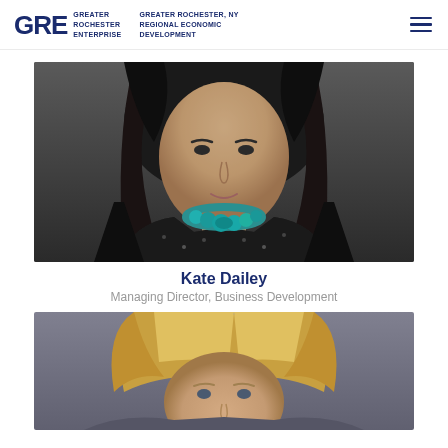GRE GREATER ROCHESTER ENTERPRISE | GREATER ROCHESTER, NY REGIONAL ECONOMIC DEVELOPMENT
[Figure (photo): Headshot of Kate Dailey, a woman with long dark hair wearing a black patterned top and turquoise necklace, photographed against a dark background]
Kate Dailey
Managing Director, Business Development
[Figure (photo): Headshot of a woman with blonde hair, photographed against a gray background, partially visible (cropped at bottom of page)]